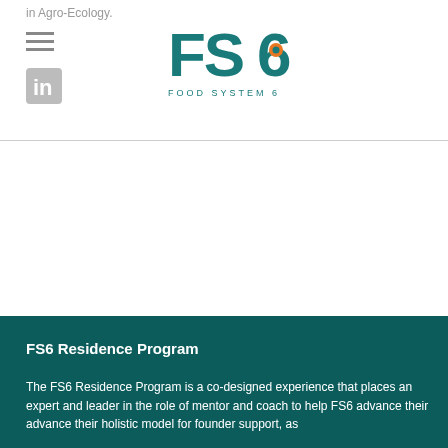in Agro-Ecology.
[Figure (logo): FS6 Food System 6 logo with teal letters and an orange/teal circular icon]
FS6 Residence Program
The FS6 Residence Program is a co-designed experience that places an expert and leader in the role of mentor and coach to help FS6 advance their advance their holistic model for founder support, as